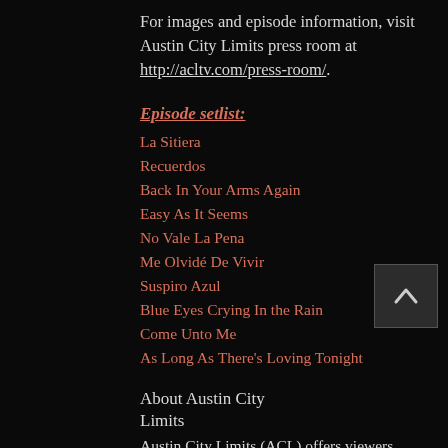For images and episode information, visit Austin City Limits press room at http://acltv.com/press-room/.
Episode setlist:
La Sitiera
Recuerdos
Back In Your Arms Again
Easy As It Seems
No Vale La Pena
Me Olvidé De Vivir
Suspiro Azul
Blue Eyes Crying In the Rain
Come Unto Me
As Long As There's Loving Tonight
About Austin City Limits
Austin City Limits (ACL) offers viewers unparalleled access to featured acts in an intimate setting that provides a platform for artists to deliver inspired…